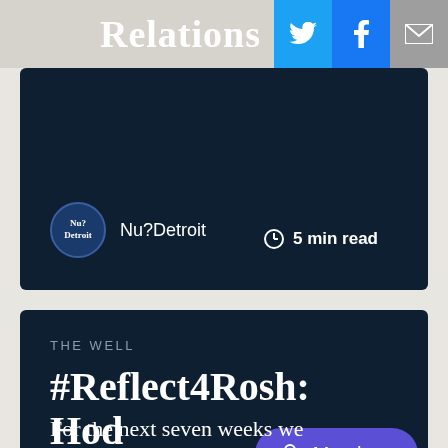Relations
[Figure (screenshot): Social sharing icons: Twitter (blue bird), Facebook (white f on blue), and email (envelope on grey)]
[Figure (screenshot): Dark navy card showing Nu?Detroit logo avatar and author name 'Nu?Detroit' with '5 min read' time indicator on right]
THE WELL
#Reflect4Rosh: Hod
[Figure (other): Purple Members button with person icon]
For the next seven weeks we